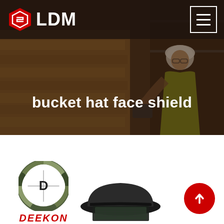[Figure (screenshot): LDM website header with logo (red hexagonal icon and LDM text) on dark semi-transparent bar, with hamburger menu button on the right]
bucket hat face shield
[Figure (logo): DEEKON brand logo - circular camouflage pattern with D in center, and DEEKON text in red italic below]
[Figure (photo): Partial product photo of a bucket hat with face shield attachment, shown at bottom of page]
[Figure (other): Red circular scroll-to-top button with upward arrow in bottom right corner]